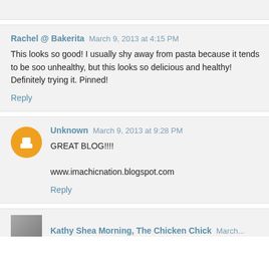Rachel @ Bakerita — March 9, 2013 at 4:15 PM — This looks so good! I usually shy away from pasta because it tends to be soo unhealthy, but this looks so delicious and healthy! Definitely trying it. Pinned! Reply
Unknown — March 9, 2013 at 9:28 PM — GREAT BLOG!!!! www.imachicnation.blogspot.com Reply
Kathy Shea Morning, The Chicken Chick March...